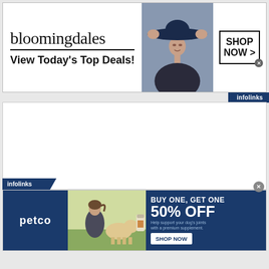[Figure (screenshot): Bloomingdale's banner advertisement: logo, 'View Today's Top Deals!', woman in hat photo, SHOP NOW button]
infolinks
[Figure (screenshot): Empty white ad content area with ezoic label and 'report this ad' link]
ezoic
report this ad
infolinks
[Figure (screenshot): Petco banner ad: BUY ONE, GET ONE 50% OFF - Help support your dog's joints with a premium supplement. SHOP NOW button, photo of woman with dog.]